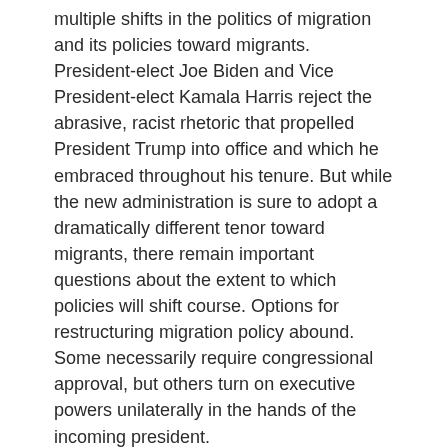multiple shifts in the politics of migration and its policies toward migrants. President-elect Joe Biden and Vice President-elect Kamala Harris reject the abrasive, racist rhetoric that propelled President Trump into office and which he embraced throughout his tenure. But while the new administration is sure to adopt a dramatically different tenor toward migrants, there remain important questions about the extent to which policies will shift course. Options for restructuring migration policy abound. Some necessarily require congressional approval, but others turn on executive powers unilaterally in the hands of the incoming president.
The Biden-Harris team has announced plans to end several high-profile Trump administration migration policies. At the top of the list is a promise to repeal the administration's 2017 ban on travel from a group of predominately Muslim countries. President-elect Biden says he will rescind that policy in his first day in office. Created by an executive order signed by President Trump, Biden will be able to rescind the policy just as easily through unilateral action.